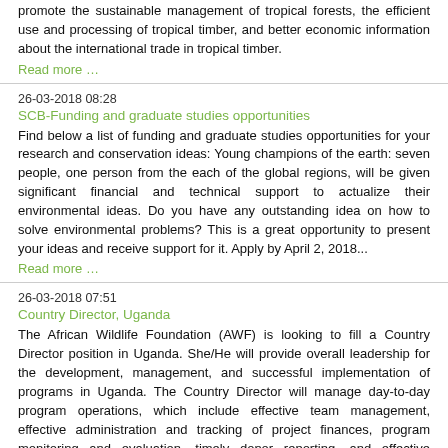promote the sustainable management of tropical forests, the efficient use and processing of tropical timber, and better economic information about the international trade in tropical timber.
Read more …
26-03-2018 08:28
SCB-Funding and graduate studies opportunities
Find below a list of funding and graduate studies opportunities for your research and conservation ideas: Young champions of the earth: seven people, one person from the each of the global regions, will be given significant financial and technical support to actualize their environmental ideas. Do you have any outstanding idea on how to solve environmental problems? This is a great opportunity to present your ideas and receive support for it. Apply by April 2, 2018...
Read more …
26-03-2018 07:51
Country Director, Uganda
The African Wildlife Foundation (AWF) is looking to fill a Country Director position in Uganda. She/He will provide overall leadership for the development, management, and successful implementation of programs in Uganda. The Country Director will manage day-to-day program operations, which include effective team management, effective administration and tracking of project finances, program monitoring and evaluation, timely donor reporting, and effective coordination between project implementing partners and AWF staff.
Read more …
26-03-2018 07:49
Regional Security Manager. Location: Democratic Republic of Congo
The Wildlife Conservation Society is looking to fill a Regional Security Manager position. She/He will design, implement and monitor threat mitigation